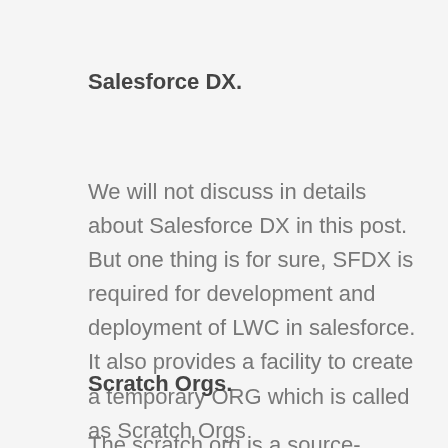Salesforce DX.
We will not discuss in details about Salesforce DX in this post. But one thing is for sure, SFDX is required for development and deployment of LWC in salesforce. It also provides a facility to create a temporary ORG which is called as Scratch Orgs
Scratch Orgs.
The scratch org is a source-driven and